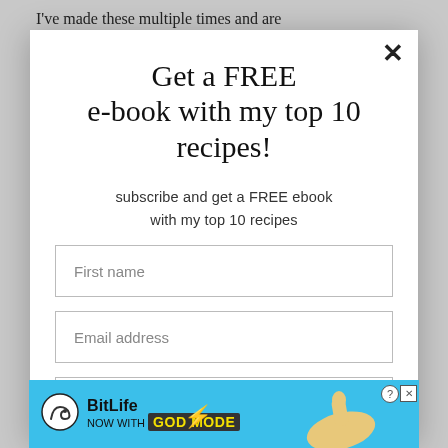I've made these multiple times and are
Get a FREE e-book with my top 10 recipes!
subscribe and get a FREE ebook with my top 10 recipes
First name
Email address
COUNT ME IN!
[Figure (screenshot): BitLife advertisement banner with yellow lightning bolt and hand pointing, text reads 'BitLife NOW WITH GOD MODE']